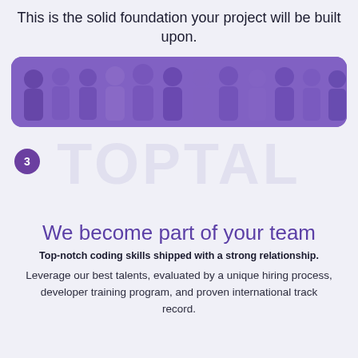This is the solid foundation your project will be built upon.
[Figure (photo): A group photo of diverse team members against a light background, rendered with a purple overlay tint.]
3
We become part of your team
Top-notch coding skills shipped with a strong relationship.
Leverage our best talents, evaluated by a unique hiring process, developer training program, and proven international track record.